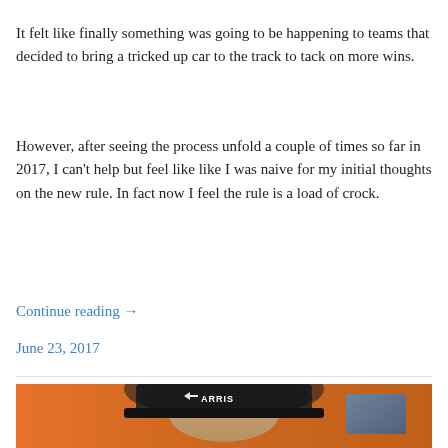It felt like finally something was going to be happening to teams that decided to bring a tricked up car to the track to tack on more wins.
However, after seeing the process unfold a couple of times so far in 2017, I can't help but feel like like I was naive for my initial thoughts on the new rule. In fact now I feel the rule is a load of crock.
Continue reading →
June 23, 2017
[Figure (photo): Close-up photo of a person wearing a black ARRIS branded cap, with an orange background visible behind them.]